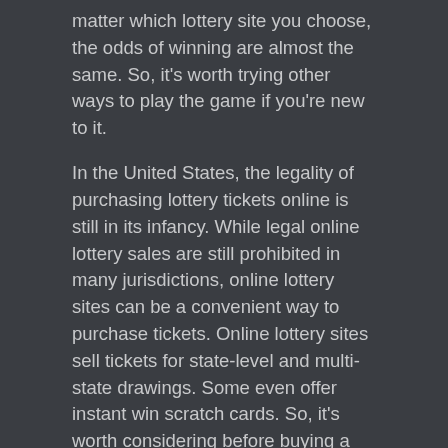matter which lottery site you choose, the odds of winning are almost the same. So, it's worth trying other ways to play the game if you're new to it.
In the United States, the legality of purchasing lottery tickets online is still in its infancy. While legal online lottery sales are still prohibited in many jurisdictions, online lottery sites can be a convenient way to purchase tickets. Online lottery sites sell tickets for state-level and multi-state drawings. Some even offer instant win scratch cards. So, it's worth considering before buying a ticket online. It's important to remember that state lottery sites are still subject to state laws and regulations.
Syndicated playing is more common today. There are online lottery sites that allow players to form syndicates and share prize winnings based on how many tickets each person has bought. This is typically done by contacting an agent or a member of lottery. To